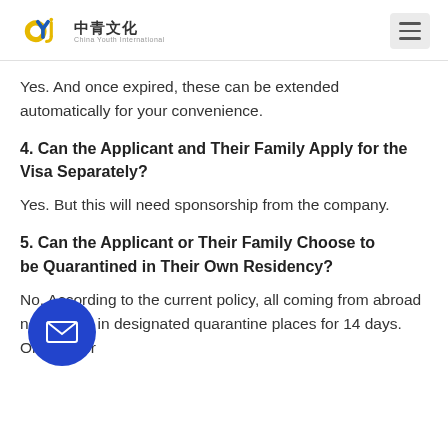中青文化 China Youth International
Yes. And once expired, these can be extended automatically for your convenience.
4. Can the Applicant and Their Family Apply for the Visa Separately?
Yes. But this will need sponsorship from the company.
5. Can the Applicant or Their Family Choose to be Quarantined in Their Own Residency?
No. According to the current policy, all coming from abroad need to be in designated quarantine places for 14 days. Only under